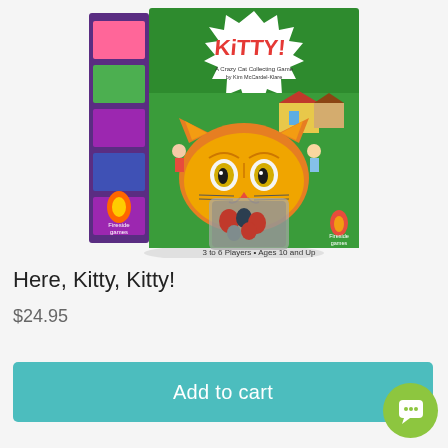[Figure (photo): Product photo of the 'Here, Kitty, Kitty!' board game box. The box features a cartoon orange cat peeking over the top with a green background showing a neighborhood scene. The title 'KiTTY!' is displayed prominently. The box reads '3 to 6 Players • Ages 10 and Up' and has a Fireside Games logo.]
Here, Kitty, Kitty!
$24.95
Add to cart